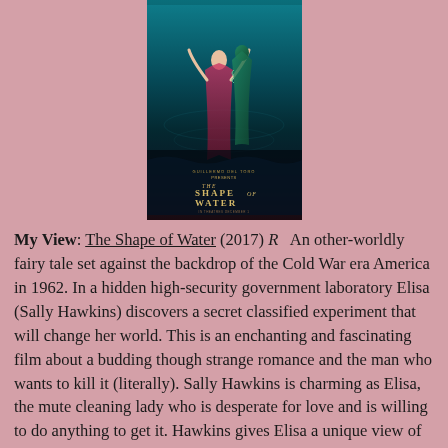[Figure (photo): Movie poster for The Shape of Water (2017) showing a figure in teal/dark water tones with the film title in gold lettering]
My View: The Shape of Water (2017) R   An other-worldly fairy tale set against the backdrop of the Cold War era America in 1962. In a hidden high-security government laboratory Elisa (Sally Hawkins) discovers a secret classified experiment that will change her world. This is an enchanting and fascinating film about a budding though strange romance and the man who wants to kill it (literally). Sally Hawkins is charming as Elisa, the mute cleaning lady who is desperate for love and is willing to do anything to get it. Hawkins gives Elisa a unique view of the world, and with the help of a neighbor, played by the soulful Richard Jenkins and a co-worker, played by the spunky Octavia Spencer, they take on one of the evilest villains in the history of cinema, Richard Strickland, played by Michael Shannon. Shannon's Strickland is malicious, violent, and uncaring how he gets the job done, just that it is done. This is a gorgeous film and the cinematography creates precisely